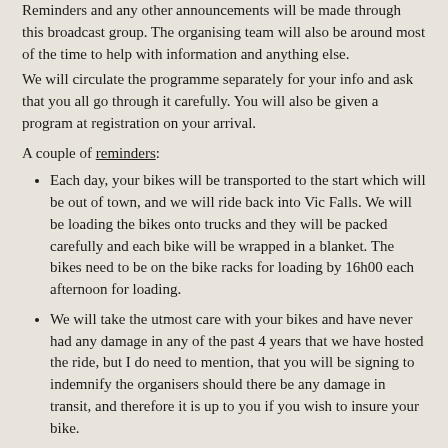Reminders and any other announcements will be made through this broadcast group. The organising team will also be around most of the time to help with information and anything else.
We will circulate the programme separately for your info and ask that you all go through it carefully. You will also be given a program at registration on your arrival.
A couple of reminders:
Each day, your bikes will be transported to the start which will be out of town, and we will ride back into Vic Falls. We will be loading the bikes onto trucks and they will be packed carefully and each bike will be wrapped in a blanket. The bikes need to be on the bike racks for loading by 16h00 each afternoon for loading.
We will take the utmost care with your bikes and have never had any damage in any of the past 4 years that we have hosted the ride, but I do need to mention, that you will be signing to indemnify the organisers should there be any damage in transit, and therefore it is up to you if you wish to insure your bike.